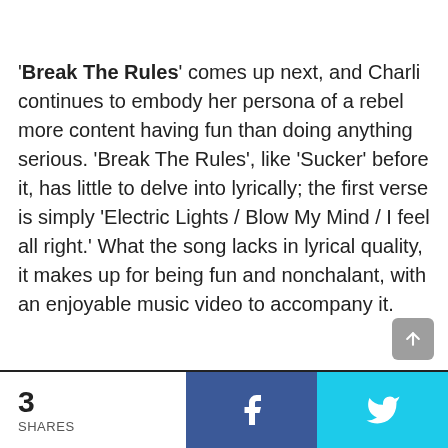'Break The Rules' comes up next, and Charli continues to embody her persona of a rebel more content having fun than doing anything serious. 'Break The Rules', like 'Sucker' before it, has little to delve into lyrically; the first verse is simply 'Electric Lights / Blow My Mind / I feel all right.' What the song lacks in lyrical quality, it makes up for being fun and nonchalant, with an enjoyable music video to accompany it.
3 SHARES